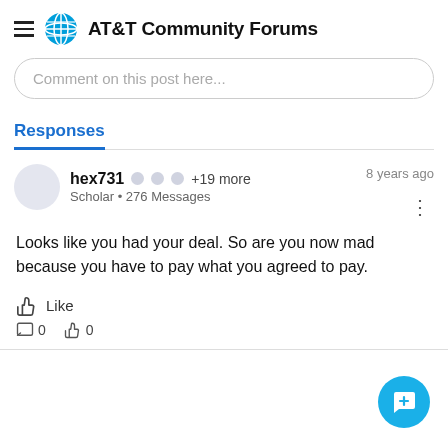AT&T Community Forums
Comment on this post here...
Responses
hex731  +19 more  Scholar • 276 Messages  8 years ago
Looks like you had your deal. So are you now mad because you have to pay what you agreed to pay.
Like  0  0